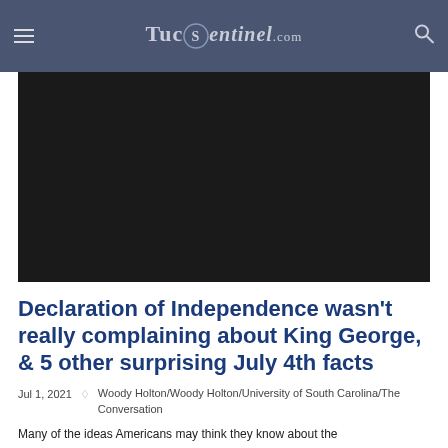TucsonSentinel.com
[Figure (photo): Black/dark image area below the header navigation bar]
Declaration of Independence wasn't really complaining about King George, & 5 other surprising July 4th facts
Jul 1, 2021   Woody Holton/Woody Holton/University of South Carolina/The Conversation
Many of the ideas Americans may think they know about the